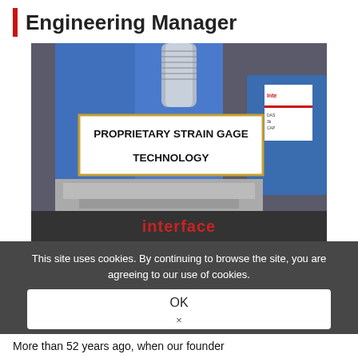Engineering Manager
[Figure (photo): Close-up photo of a blue force transducer/load cell with a threaded connector on top. A white label overlay reads 'PROPRIETARY STRAIN GAGE TECHNOLOGY' in bold uppercase text within an orange-bordered box. The Interface brand logo appears at the bottom of the device in red text.]
This site uses cookies. By continuing to browse the site, you are agreeing to our use of cookies.
OK
×
More than 52 years ago, when our founder